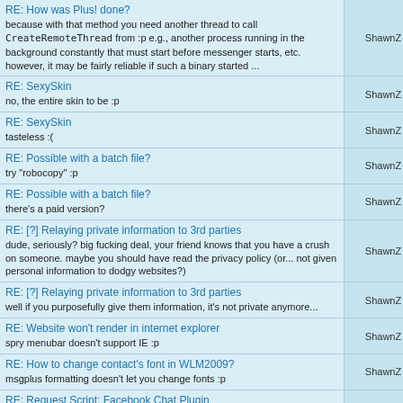| Post | Author |
| --- | --- |
| RE: How was Plus! done?
because with that method you need another thread to call CreateRemoteThread from :p e.g., another process running in the background constantly that must start before messenger starts, etc. however, it may be fairly reliable if such a binary started ... | ShawnZ |
| RE: SexySkin
no, the entire skin to be :p | ShawnZ |
| RE: SexySkin
tasteless :( | ShawnZ |
| RE: Possible with a batch file?
try "robocopy" :p | ShawnZ |
| RE: Possible with a batch file?
there's a paid version? | ShawnZ |
| RE: [?] Relaying private information to 3rd parties
dude, seriously? big fucking deal, your friend knows that you have a crush on someone. maybe you should have read the privacy policy (or... not given personal information to dodgy websites?) | ShawnZ |
| RE: [?] Relaying private information to 3rd parties
well if you purposefully give them information, it's not private anymore... | ShawnZ |
| RE: Website won't render in internet explorer
spry menubar doesn't support IE :p | ShawnZ |
| RE: How to change contact's font in WLM2009?
msgplus formatting doesn't let you change fonts :p | ShawnZ |
| RE: Request Script: Facebook Chat Plugin
well er... if facebook itself can do it completely in javascript, then... :p | ShawnZ |
[Hide Excerpts]
powered by DZBB | theme by Guido | header by Eljay | logo by andrey